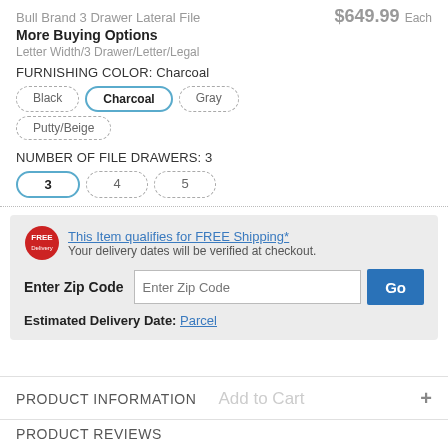Bull Brand 3 Drawer Lateral File   $649.99 Each
More Buying Options
Letter Width/3 Drawer/Letter/Legal
FURNISHING COLOR: Charcoal
Black   Charcoal   Gray   Putty/Beige
NUMBER OF FILE DRAWERS: 3
3   4   5
This Item qualifies for FREE Shipping*
Your delivery dates will be verified at checkout.
Enter Zip Code
Estimated Delivery Date: Parcel
PRODUCT INFORMATION
PRODUCT REVIEWS